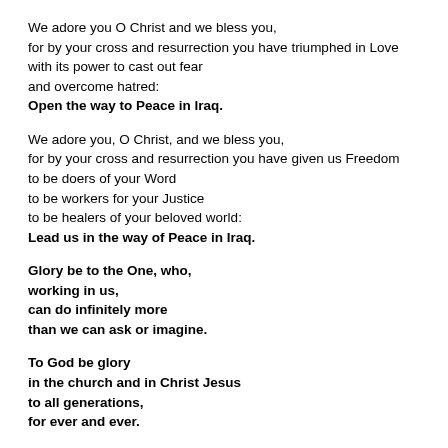We adore you O Christ and we bless you,
for by your cross and resurrection you have triumphed in Love
with its power to cast out fear
and overcome hatred:
Open the way to Peace in Iraq.
We adore you, O Christ, and we bless you,
for by your cross and resurrection you have given us Freedom
to be doers of your Word
to be workers for your Justice
to be healers of your beloved world:
Lead us in the way of Peace in Iraq.
Glory be to the One, who,
working in us,
can do infinitely more
than we can ask or imagine.
To God be glory
in the church and in Christ Jesus
to all generations,
for ever and ever.